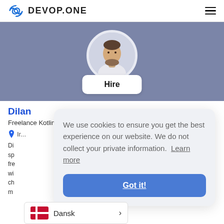DEVOP.ONE
[Figure (photo): Profile photo of Dilan, a bearded man in a white shirt, shown in a circular avatar on a blue-gray banner background, with a 'Hire' button below]
Dilan
Freelance Kotlin Developer
Di... sp... fre... wi... ch... m...
We use cookies to ensure you get the best experience on our website. We do not collect your private information. Learn more
Got it!
Dansk